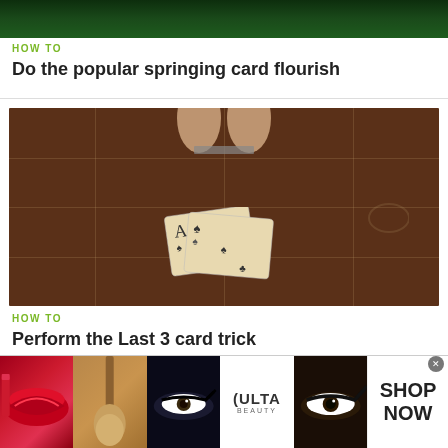[Figure (screenshot): Partial top image showing dark green background, likely a video thumbnail of a card trick]
HOW TO
Do the popular springing card flourish
[Figure (photo): Overhead view of a brown card table with tile pattern. Hands visible at top holding cards. Playing cards (Ace and others) visible at bottom of frame on the table surface.]
HOW TO
Perform the Last 3 card trick
[Figure (other): Advertisement banner for ULTA beauty. Shows multiple panels: red lips, makeup brush, eye with makeup, ULTA logo, dramatic eye makeup, and SHOP NOW call to action.]